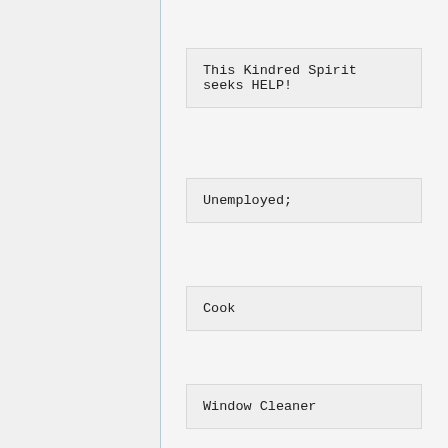This Kindred Spirit seeks HELP!
Unemployed;
Cook
Window Cleaner